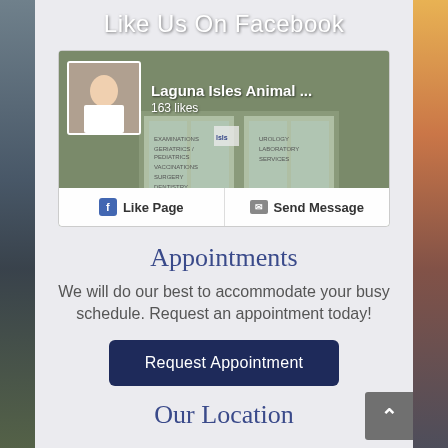Like Us On Facebook
[Figure (screenshot): Facebook page widget for Laguna Isles Animal with 163 likes, showing a cover photo of the animal clinic storefront with Like Page and Send Message buttons]
Appointments
We will do our best to accommodate your busy schedule. Request an appointment today!
Request Appointment
Our Location